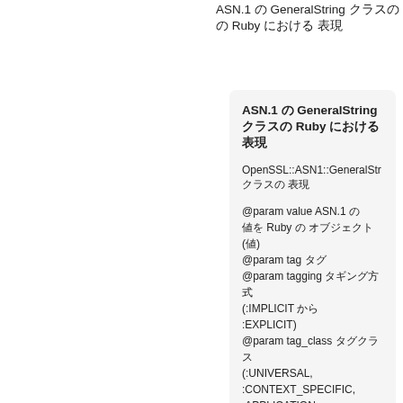ASN.1 の GeneralString クラスの Ruby における 表現
ASN.1 の GeneralString クラスの Ruby における 表現

OpenSSL::ASN1::GeneralStr クラスの 表現

@param value ASN.1 の 値を Ruby の オブジェクト(値) @param tag タグ @param tagging タギング方式(:IMPLICIT から :EXPLICIT) @param tag_class タグクラス(:UNIVERSAL, :CONTEXT_SPECIFIC, :APPLICATION,